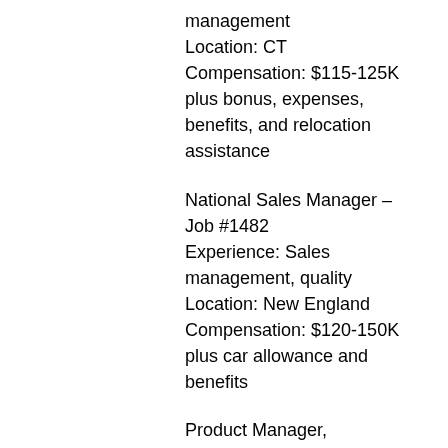management
Location: CT
Compensation: $115-125K plus bonus, expenses, benefits, and relocation assistance
National Sales Manager – Job #1482
Experience: Sales management, quality
Location: New England
Compensation: $120-150K plus car allowance and benefits
Product Manager, Instrumentation – Job #1446
Experience: Instrumentation, consumables, cell biology, molecular biology